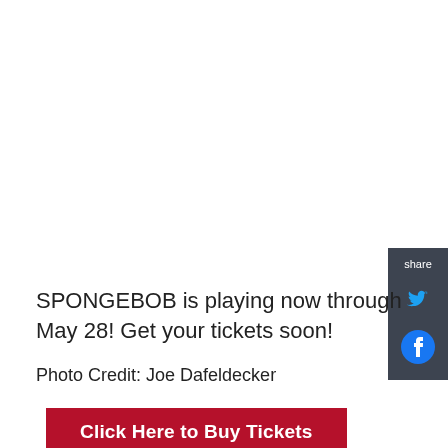[Figure (other): Share panel with Twitter and Facebook icons on dark gray background, positioned at right edge]
SPONGEBOB is playing now through May 28! Get your tickets soon!
Photo Credit: Joe Dafeldecker
Click Here to Buy Tickets